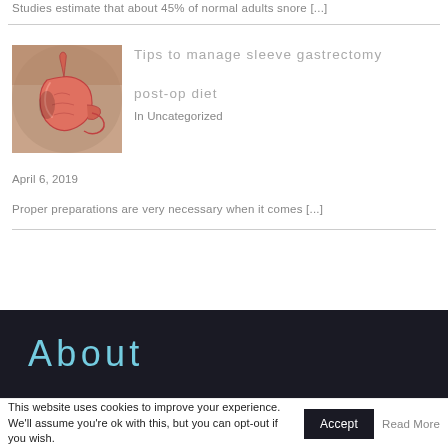Studies estimate that about 45% of normal adults snore [...]
[Figure (photo): Medical illustration of a stomach from a sleeve gastrectomy procedure, shown against skin background]
Tips to manage sleeve gastrectomy post-op diet
In Uncategorized
April 6, 2019
Proper preparations are very necessary when it comes [...]
About
This website uses cookies to improve your experience. We'll assume you're ok with this, but you can opt-out if you wish.  Accept  Read More